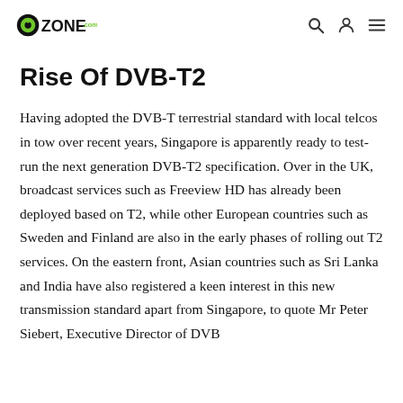ZONE.com
Rise Of DVB-T2
Having adopted the DVB-T terrestrial standard with local telcos in tow over recent years, Singapore is apparently ready to test-run the next generation DVB-T2 specification. Over in the UK, broadcast services such as Freeview HD has already been deployed based on T2, while other European countries such as Sweden and Finland are also in the early phases of rolling out T2 services. On the eastern front, Asian countries such as Sri Lanka and India have also registered a keen interest in this new transmission standard apart from Singapore, to quote Mr Peter Siebert, Executive Director of DVB